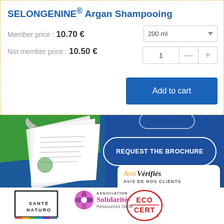SELONGENINE® Argan Shampooing
Member price : 10.70 €
Not member price : 10.50 €
[Figure (screenshot): 200ml dropdown selector and quantity controls (+/-) with Add to cart button]
[Figure (infographic): Dark blue banner with brochure image on left and 'REQUEST THE BROCHURE' pill button on right]
[Figure (infographic): Avis Vérifiés badge showing AVIS DE NOS CLIENTS with 4 stars and rating 4.8/5]
[Figure (logo): Santé Naturo logo - square border with text SANTÉ NATURO and colored bar]
[Figure (logo): Ecocert certification logo]
[Figure (logo): Association Solidarité Ressources Santé logo with flower icon]